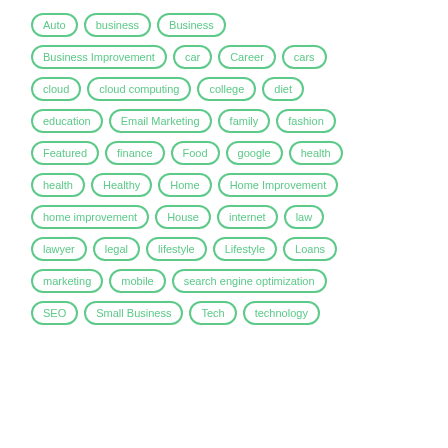Auto
business
Business
Business Improvement
car
Career
cars
cloud
cloud computing
college
diet
education
Email Marketing
family
fashion
Featured
finance
Food
google
health
health
Healthy
Home
Home Improvement
home improvement
House
internet
law
lawyer
legal
lifestyle
Lifestyle
Loans
marketing
mobile
search engine optimization
SEO
Small Business
Tech
technology